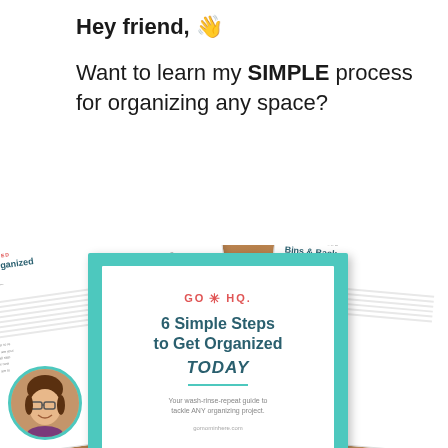Hey friend, 👋
Want to learn my SIMPLE process for organizing any space?
[Figure (photo): Photo of a booklet titled '6 Simple Steps to Get Organized TODAY' with teal border, surrounded by other organizing worksheets on a wood surface. A circular profile photo of a smiling woman with glasses is visible in the bottom left.]
COMM
NAME